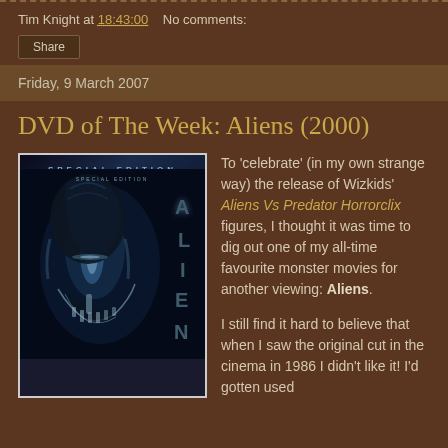Tim Knight at 18:43:00   No comments:
Share
Friday, 9 March 2007
DVD of The Week: Aliens (2000)
[Figure (photo): Aliens Special Edition DVD cover showing alien xenomorph face in blue-tinted dark lighting with vertical letter arrangement A-L-I-E-N on the right side]
To 'celebrate' (in my own strange way) the release of Wizkids' Aliens Vs Predator Horrorclix figures, I thought it was time to dig out one of my all-time favourite monster movies for another viewing: Aliens.

I still find it hard to believe that when I saw the original cut in the cinema in 1986 I didn't like it! I'd gotten used